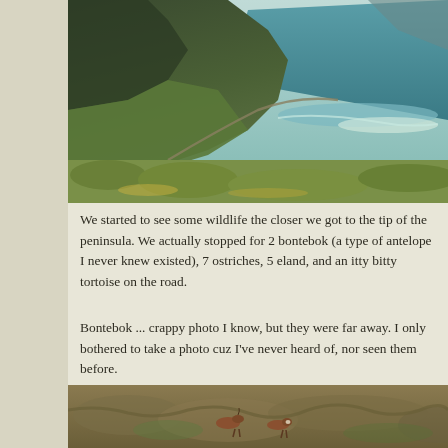[Figure (photo): Aerial/elevated view of a coastal mountain landscape with green vegetation, a winding road, and turquoise ocean water visible in the background — likely the Cape Peninsula, South Africa.]
We started to see some wildlife the closer we got to the tip of the peninsula. We actually stopped for 2 bontebok (a type of antelope I never knew existed), 7 ostriches, 5 eland, and an itty bitty tortoise on the road.
Bontebok ... crappy photo I know, but they were far away. I only bothered to take a photo cuz I've never heard of, nor seen them before.
[Figure (photo): Photo of bontebok (antelope) in dry scrubby grassland vegetation, taken from a distance, animals visible in the lower portion of the frame.]